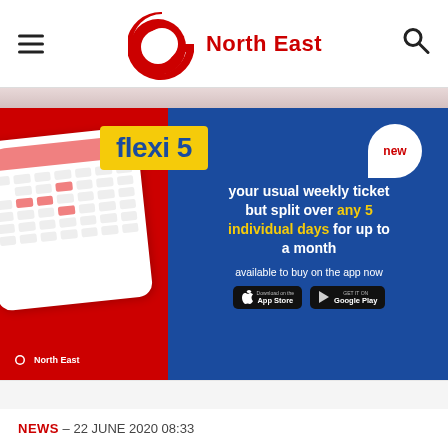Go North East
[Figure (infographic): Flexi 5 promotional banner: red background with calendar graphic on left, blue panel on right with text 'flexi 5 your usual weekly ticket but split over any 5 individual days for up to a month, available to buy on the app now', App Store and Google Play buttons, 'new' badge, Go North East logo bottom left]
NEWS - 22 JUNE 2020 08:33